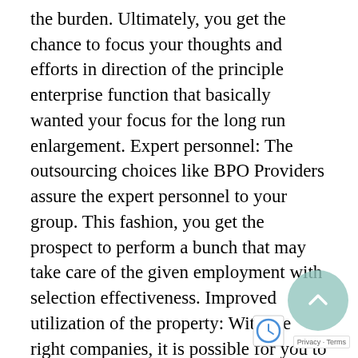the burden. Ultimately, you get the chance to focus your thoughts and efforts in direction of the principle enterprise function that basically wanted your focus for the long run enlargement. Expert personnel: The outsourcing choices like BPO Providers assure the expert personnel to your group. This fashion, you get the prospect to perform a bunch that may take care of the given employment with selection effectiveness. Improved utilization of the property: With the right companies, it is possible for you to to easily direct your work, practicality in direction of the perfect use of the property. The all-around coordinated method in direction of the features will enhance the capability of every division of the group to perform highly effective outcomes. Value-adequately: Working with the Enterprise Course of Outsourcing Firms, it is possible for you to avoid wasting a a lot. The streamlined companies make it easier so that you can construction the adequately. As an final result, you get the chance to